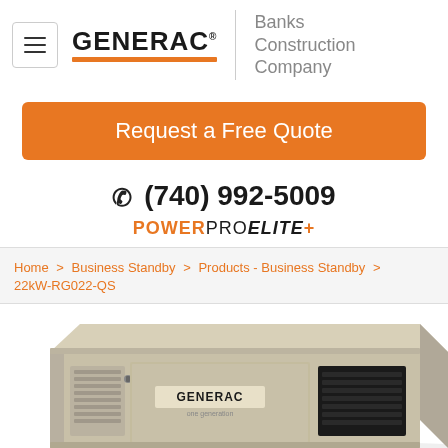[Figure (logo): Generac logo with hamburger menu icon on left, and Banks Construction Company text on right separated by a vertical divider]
Request a Free Quote
☎ (740) 992-5009
POWERPROELITE+
Home > Business Standby > Products - Business Standby > 22kW-RG022-QS
[Figure (photo): Generac 22kW commercial standby generator in beige/tan metal enclosure, partial view from top showing front and side panels with ventilation grilles and Generac branding]